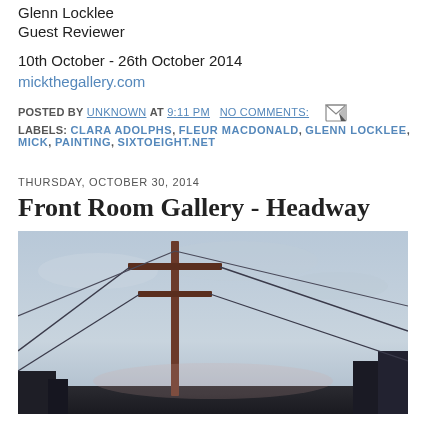Glenn Locklee
Guest Reviewer
10th October - 26th October 2014
mickthegallery.com
POSTED BY UNKNOWN AT 9:11 PM  NO COMMENTS:
LABELS: CLARA ADOLPHS, FLEUR MACDONALD, GLENN LOCKLEE, MICK, PAINTING, SIXTOEIGHT.NET
THURSDAY, OCTOBER 30, 2014
Front Room Gallery - Headway
[Figure (photo): Painting of a utility pole with power lines against a pale blue-grey sky, with dark trees/buildings at the lower edges. Oil or acrylic painting style.]